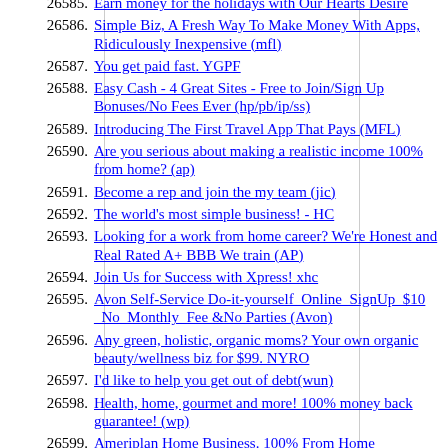26585. Earn money for the holidays with Our Hearts Desire
26586. Simple Biz, A Fresh Way To Make Money With Apps, Ridiculously Inexpensive (mfl)
26587. You get paid fast. YGPF
26588. Easy Cash - 4 Great Sites - Free to Join/Sign Up Bonuses/No Fees Ever (hp/pb/ip/ss)
26589. Introducing The First Travel App That Pays (MFL)
26590. Are you serious about making a realistic income 100% from home? (ap)
26591. Become a rep and join the my team (jic)
26592. The world's most simple business! - HC
26593. Looking for a work from home career? We're Honest and Real Rated A+ BBB We train (AP)
26594. Join Us for Success with Xpress! xhc
26595. Avon Self-Service Do-it-yourself_Online_SignUp_$10 _No_Monthly_Fee &No Parties (Avon)
26596. Any green, holistic, organic moms? Your own organic beauty/wellness biz for $99. NYRO
26597. I'd like to help you get out of debt(wun)
26598. Health, home, gourmet and more! 100% money back guarantee! (wp)
26599. Ameriplan Home Business. 100% From Home
26600. Have you ever made +900 pips in 48